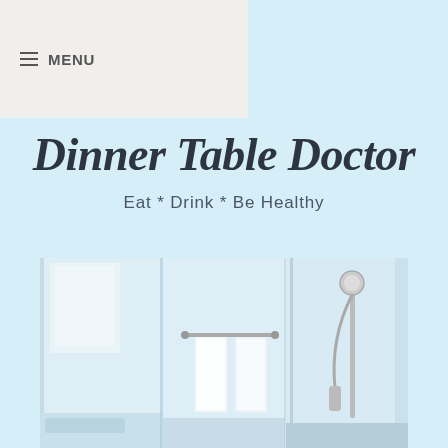≡ MENU
Dinner Table Doctor
Eat * Drink * Be Healthy
[Figure (photo): Bathroom interior showing towels on a rail and a shower enclosure, light airy tones]